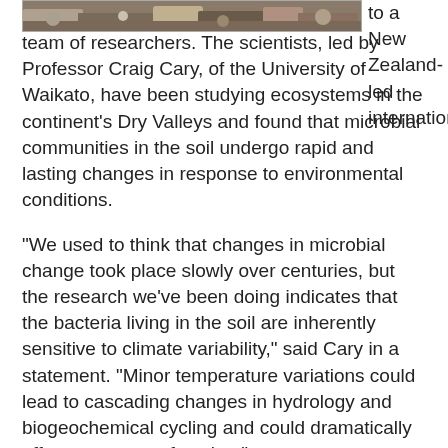[Figure (photo): Photograph of rocks and stones in what appears to be an Antarctic Dry Valleys environment, showing gravel and boulders.]
to a New Zealand-led international team of researchers. The scientists, led by Professor Craig Cary, of the University of Waikato, have been studying ecosystems in the continent's Dry Valleys and found that microbial communities in the soil undergo rapid and lasting changes in response to environmental conditions.

"We used to think that changes in microbial change took place slowly over centuries, but the research we've been doing indicates that the bacteria living in the soil are inherently sensitive to climate variability," said Cary in a statement. "Minor temperature variations could lead to cascading changes in hydrology and biogeochemical cycling and could dramatically affect ecosystem function."

The scientists measured the rate at which observed biological changes occurred beneath a seal carcass and at a nearby control site. They found that under the carcass the soil environment changed by stabilizing temperatures, elevating relative humidity and reducing ultraviolet exposure.

They then determined the growth of the changes...